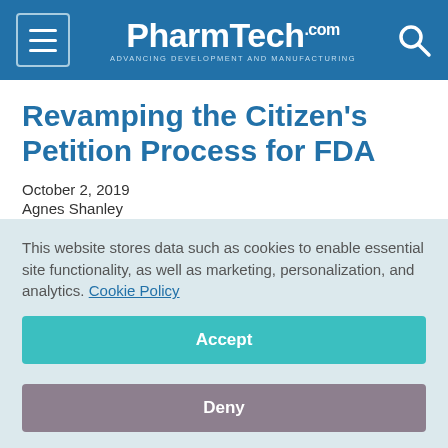PharmTech.com — Advancing Development and Manufacturing
Revamping the Citizen's Petition Process for FDA
October 2, 2019
Agnes Shanley
[Figure (other): Social sharing icons: Facebook, Twitter, LinkedIn, Pinterest, Email]
This website stores data such as cookies to enable essential site functionality, as well as marketing, personalization, and analytics. Cookie Policy
Accept
Deny